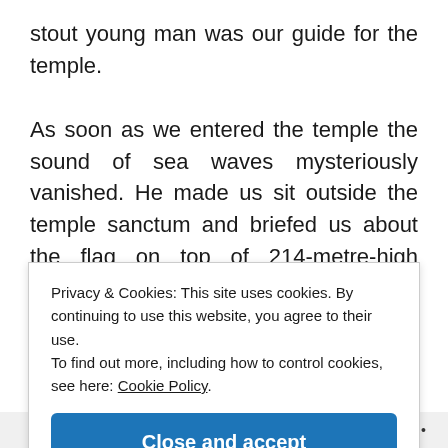stout young man was our guide for the temple.

As soon as we entered the temple the sound of sea waves mysteriously vanished. He made us sit outside the temple sanctum and briefed us about the flag on top of 214-metre-high temple. This flag unscientifically floats in the opposite direction of the wind. This flag is changed every day in the evening by a temple priest. This was a spectacle to watch as within minutes he
Privacy & Cookies: This site uses cookies. By continuing to use this website, you agree to their use.
To find out more, including how to control cookies, see here: Cookie Policy.
Close and accept
Follow ...